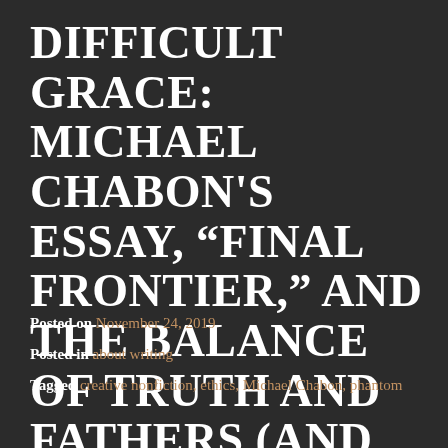DIFFICULT GRACE: MICHAEL CHABON'S ESSAY, "FINAL FRONTIER," AND THE BALANCE OF TRUTH AND FATHERS (AND MOTHERS) IN CNF
Posted on November 24, 2019
Posted in about writing
Tagged creative nonfiction, ethics, Michael Chabon, phantom